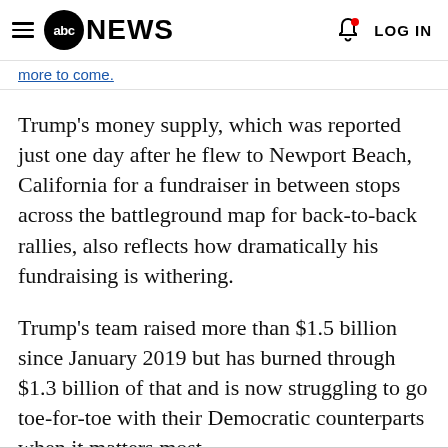abc NEWS  LOG IN
Trump's money supply, which was reported just one day after he flew to Newport Beach, California for a fundraiser in between stops across the battleground map for back-to-back rallies, also reflects how dramatically his fundraising is withering.
Trump's team raised more than $1.5 billion since January 2019 but has burned through $1.3 billion of that and is now struggling to go toe-for-toe with their Democratic counterparts when it matters most.